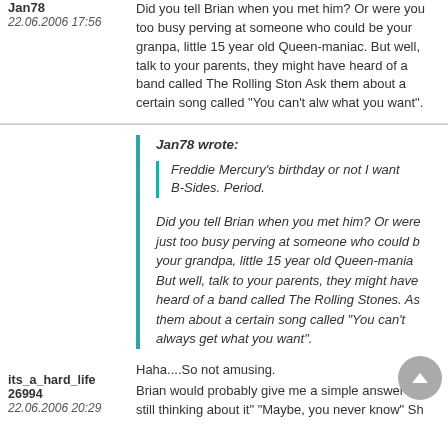Jan78
22.06.2006 17:56
Did you tell Brian when you met him? Or were you too busy perving at someone who could be your grandpa, little 15 year old Queen-maniac. But well, talk to your parents, they might have heard of a band called The Rolling Stones. Ask them about a certain song called "You can't always get what you want".
Jan78 wrote:
Freddie Mercury's birthday or not I want B-Sides. Period.
Did you tell Brian when you met him? Or were you just too busy perving at someone who could be your grandpa, little 15 year old Queen-maniac. But well, talk to your parents, they might have heard of a band called The Rolling Stones. Ask them about a certain song called "You can't always get what you want".
its_a_hard_life 26994
22.06.2006 20:29
Haha....So not amusing.
Brian would probably give me a simple answer like still thinking about it" "Maybe, you never know" Sh